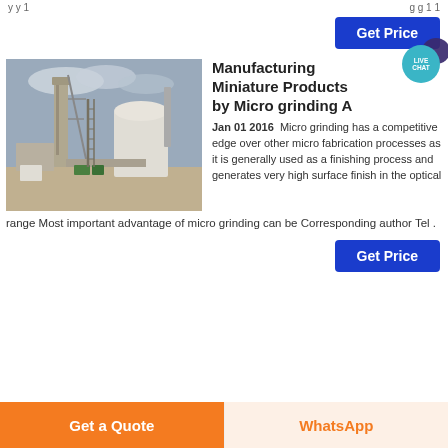Manufacturing Miniature Products by Micro grinding A
[Figure (photo): Industrial factory/cement plant with large machinery towers, silos, and industrial buildings under a cloudy sky.]
Manufacturing Miniature Products by Micro grinding A
Jan 01 2016  Micro grinding has a competitive edge over other micro fabrication processes as it is generally used as a finishing process and generates very high surface finish in the optical range Most important advantage of micro grinding can be Corresponding author Tel .
Get Price
Get a Quote
WhatsApp